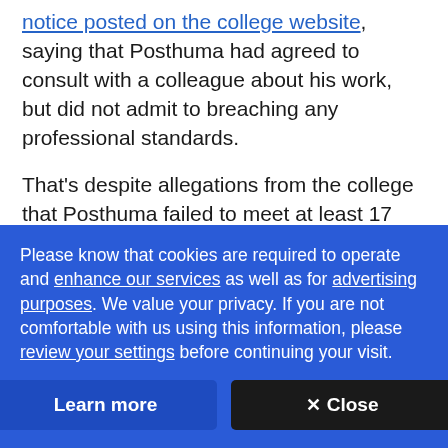notice posted on the college website, saying that Posthuma had agreed to consult with a colleague about his work, but did not admit to breaching any professional standards.
That's despite allegations from the college that Posthuma failed to meet at least 17 standards of its Code of Conduct, along with one section of the Family Law Act, according to the reports reviewed by CBC News. Those allegations have not been proven.
Please know that cookies are required to operate and enhance our services as well as for advertising purposes. We value your privacy. If you are not comfortable with us using this information, please review your settings before continuing your visit.